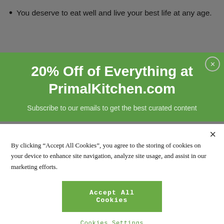You deserve to eat well and live your best life at any age.
[Figure (screenshot): Green promotional banner for PrimalKitchen.com offering 20% Off of Everything, with subscribe prompt]
By clicking “Accept All Cookies”, you agree to the storing of cookies on your device to enhance site navigation, analyze site usage, and assist in our marketing efforts.
Accept All Cookies
Cookies Settings